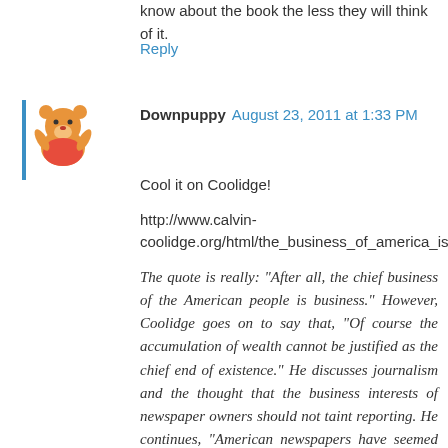know about the book the less they will think of it.
Reply
[Figure (illustration): Winnie the Pooh avatar image with blue vertical bar on left side]
Downpuppy August 23, 2011 at 1:33 PM
Cool it on Coolidge!

http://www.calvin-coolidge.org/html/the_business_of_america_is_bus.html

The quote is really: "After all, the chief business of the American people is business." However, Coolidge goes on to say that, "Of course the accumulation of wealth cannot be justified as the chief end of existence." He discusses journalism and the thought that the business interests of newspaper owners should not taint reporting. He continues, "American newspapers have seemed to me to be particularly representative of this practical idealism of our people."

His last paragraph in the speech shows what he really believes motivate Americans: